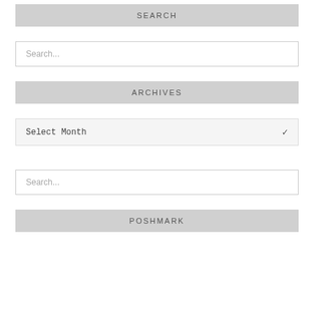SEARCH
Search...
ARCHIVES
Select Month
Search...
POSHMARK